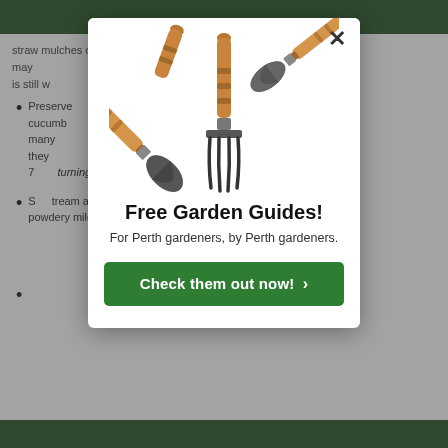[Figure (screenshot): Background webpage content showing gardening article text with bullet points about preserving vegetables and treating garden conditions, with green header/footer bars]
[Figure (photo): Three garden hand tools (two trowels and a cultivator/rake) with wooden handles and dark metal heads, crossed together]
Free Garden Guides!
For Perth gardeners, by Perth gardeners.
Check them out now! >